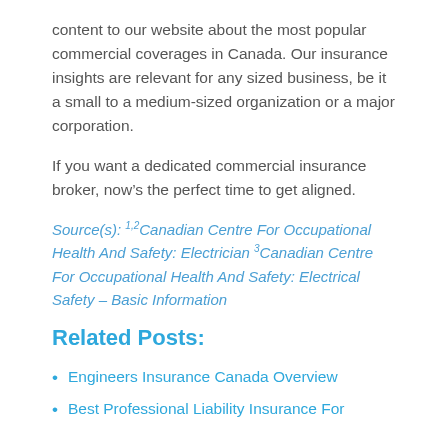content to our website about the most popular commercial coverages in Canada. Our insurance insights are relevant for any sized business, be it a small to a medium-sized organization or a major corporation.
If you want a dedicated commercial insurance broker, now’s the perfect time to get aligned.
Source(s): 1,2Canadian Centre For Occupational Health And Safety: Electrician 3Canadian Centre For Occupational Health And Safety: Electrical Safety – Basic Information
Related Posts:
Engineers Insurance Canada Overview
Best Professional Liability Insurance For Electrical Engineers: Policies & Coverage